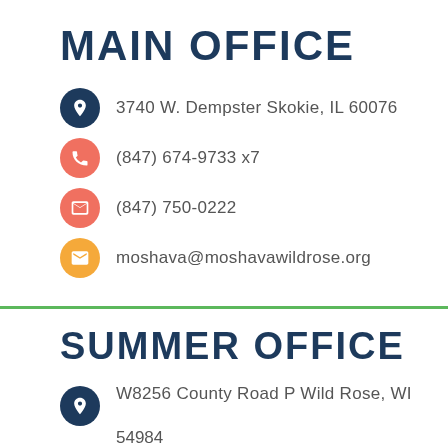MAIN OFFICE
3740 W. Dempster Skokie, IL 60076
(847) 674-9733 x7
(847) 750-0222
moshava@moshavawildrose.org
SUMMER OFFICE
W8256 County Road P Wild Rose, WI 54984
(920) 622-3379
moshava@moshavawildrose.org